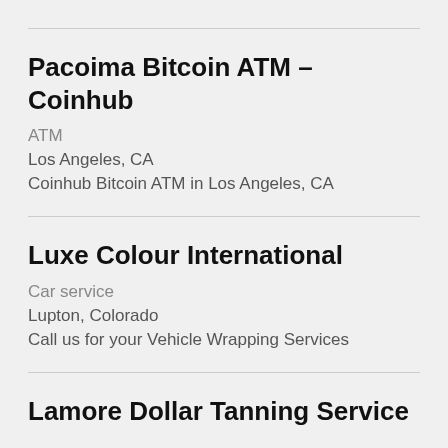Pacoima Bitcoin ATM – Coinhub
ATM
Los Angeles, CA
Coinhub Bitcoin ATM in Los Angeles, CA
Luxe Colour International
Car service
Lupton, Colorado
Call us for your Vehicle Wrapping Services
Lamore Dollar Tanning Service